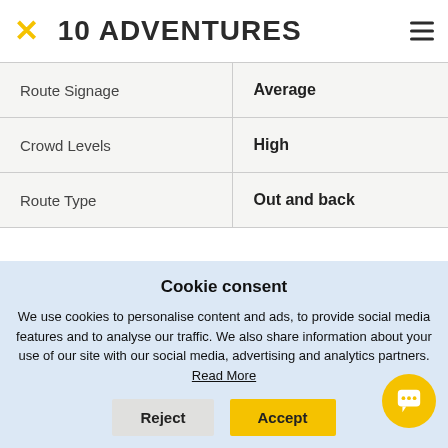10 ADVENTURES
| Route Signage | Average |
| --- | --- |
| Route Signage | Average |
| Crowd Levels | High |
| Route Type | Out and back |
Gem Lake via Snow Lake and High Lakes Trail
Cookie consent
We use cookies to personalise content and ads, to provide social media features and to analyse our traffic. We also share information about your use of our site with our social media, advertising and analytics partners. Read More
Reject | Accept